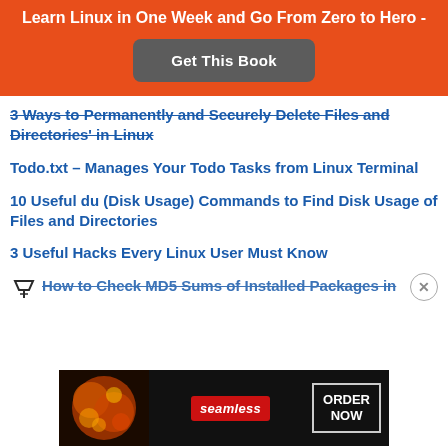Learn Linux in One Week and Go From Zero to Hero -
Get This Book
3 Ways to Permanently and Securely Delete Files and Directories' in Linux
Todo.txt – Manages Your Todo Tasks from Linux Terminal
10 Useful du (Disk Usage) Commands to Find Disk Usage of Files and Directories
3 Useful Hacks Every Linux User Must Know
How to Check MD5 Sums of Installed Packages in
[Figure (screenshot): Seamless food ordering advertisement banner with pizza image, seamless logo, and ORDER NOW button]